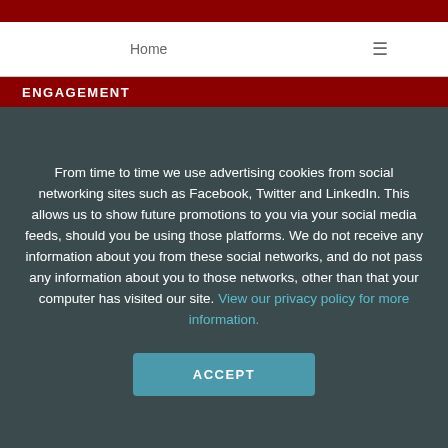Home ≡
ENGAGEMENT
From time to time we use advertising cookies from social networking sites such as Facebook, Twitter and LinkedIn. This allows us to show future promotions to you via your social media feeds, should you be using those platforms. We do not receive any information about you from these social networks, and do not pass any information about you to those networks, other than that your computer has visited our site. View our privacy policy for more information.
ACCEPT